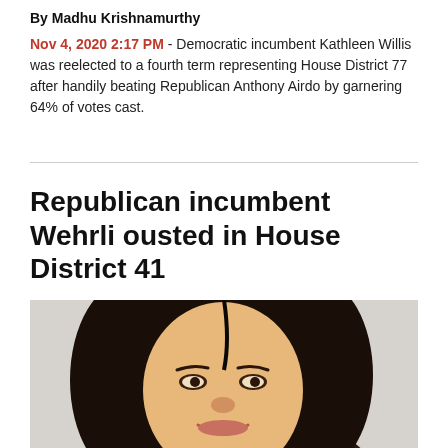By Madhu Krishnamurthy
Nov 4, 2020 2:17 PM - Democratic incumbent Kathleen Willis was reelected to a fourth term representing House District 77 after handily beating Republican Anthony Airdo by garnering 64% of votes cast.
Republican incumbent Wehrli ousted in House District 41
[Figure (photo): Portrait photo of a woman with long dark hair, smiling, against a light grey background]